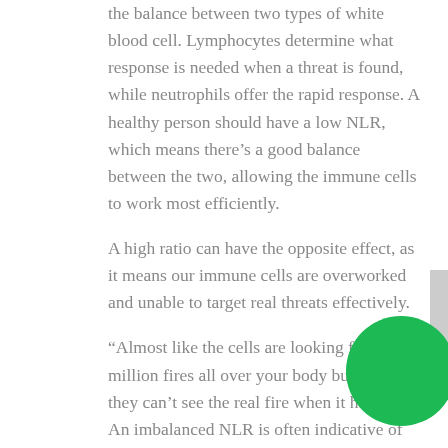the balance between two types of white blood cell. Lymphocytes determine what response is needed when a threat is found, while neutrophils offer the rapid response. A healthy person should have a low NLR, which means there's a good balance between the two, allowing the immune cells to work most efficiently.
A high ratio can have the opposite effect, as it means our immune cells are overworked and unable to target real threats effectively.
“Almost like the cells are looking for a million fires all over your body but then they can’t see the real fire when it happens.” An imbalanced NLR is often indicative of an imbalanced lifestyle.
“People are quite sedentary, they eat badly; all this creates a state of consistent low-level inflammation in our bodies,” says Cruickshank. It is also a side effect of stress and tiredness – the familiar winter feeling of being run down. Scientists are increasingly concerned